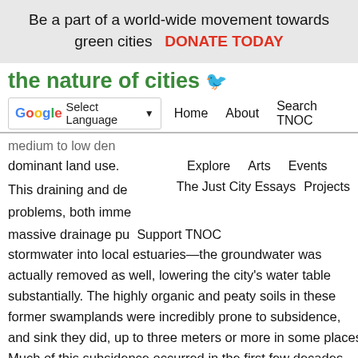Be a part of a world-wide movement towards green cities   DONATE TODAY
the nature of cities
Select Language | Home | About | Search TNOC | Explore | Arts | Events | The Just City Essays | Projects | Support TNOC
medium to low den dominant land use.
This draining and de problems, both imme massive drainage pu stormwater into local estuaries—the groundwater was actually removed as well, lowering the city's water table substantially. The highly organic and peaty soils in these former swamplands were incredibly prone to subsidence, and sink they did, up to three meters or more in some places. Much of this subsidence occurred in the first few decades after the drainage system was implemented, posing challenges for the installation of roads, sewer lines, building foundations, and so forth. This underscores the